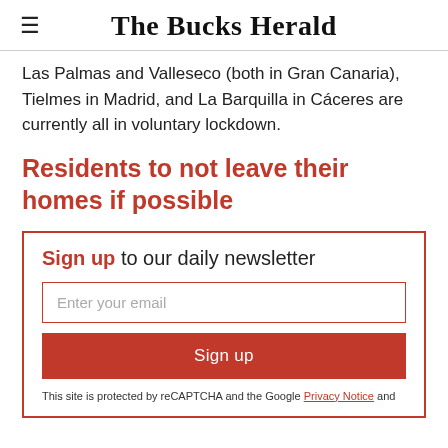The Bucks Herald
Las Palmas and Valleseco (both in Gran Canaria), Tielmes in Madrid, and La Barquilla in Cáceres are currently all in voluntary lockdown.
Residents to not leave their homes if possible
Sign up to our daily newsletter
Enter your email
Sign up
This site is protected by reCAPTCHA and the Google Privacy Notice and